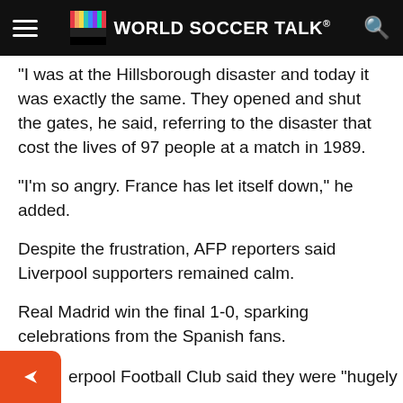WORLD SOCCER TALK
“I was at the Hillsborough disaster and today it was exactly the same. They opened and shut the gates, he said, referring to the disaster that cost the lives of 97 people at a match in 1989.
“I’m so angry. France has let itself down,” he added.
Despite the frustration, AFP reporters said Liverpool supporters remained calm.
Real Madrid win the final 1-0, sparking celebrations from the Spanish fans.
– Fake tickets? –
…erpool Football Club said they were “hugely